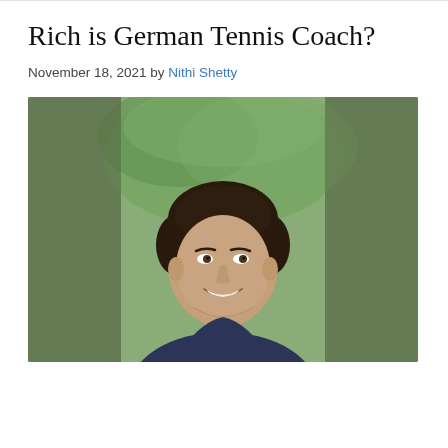Rich is German Tennis Coach?
November 18, 2021 by Nithi Shetty
[Figure (photo): Portrait photo of a smiling man with dark hair wearing a navy blue t-shirt, photographed outdoors with a green blurred background. The photo has a blurred/dimmed strip on the left and right sides with the sharp portrait centered.]